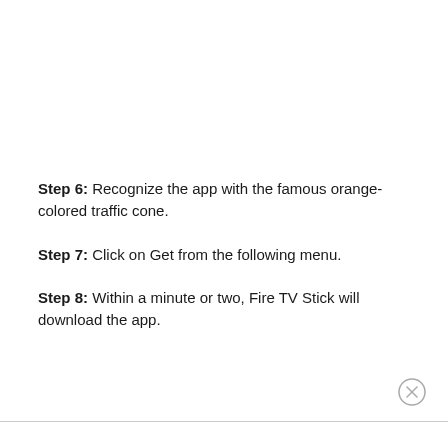Step 6: Recognize the app with the famous orange-colored traffic cone.
Step 7: Click on Get from the following menu.
Step 8: Within a minute or two, Fire TV Stick will download the app.